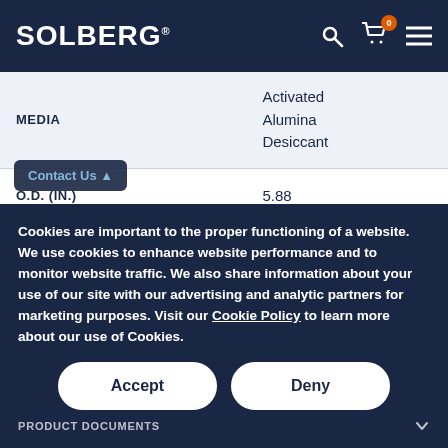SOLBERG
| Property | Value |
| --- | --- |
| MEDIA | Activated Alumina Desiccant |
| O.D. (IN.) | 5.88 |
| I.D. (IN.) | 3.50 |
| HEIGHT (IN.) | 8.52 |
Cookies are important to the proper functioning of a website. We use cookies to enhance website performance and to monitor website traffic. We also share information about your use of our site with our advertising and analytic partners for marketing purposes. Visit our Cookie Policy to learn more about our use of Cookies.
Contact Us
PRODUCT DOCUMENTS